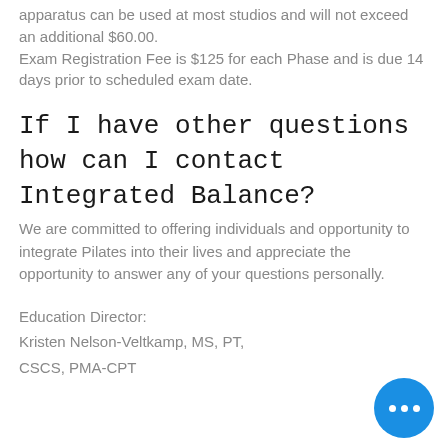apparatus can be used at most studios and will not exceed an additional $60.00. Exam Registration Fee is $125 for each Phase and is due 14 days prior to scheduled exam date.
If I have other questions how can I contact Integrated Balance?
We are committed to offering individuals and opportunity to integrate Pilates into their lives and appreciate the opportunity to answer any of your questions personally.
Education Director:
Kristen Nelson-Veltkamp, MS, PT,
CSCS, PMA-CPT